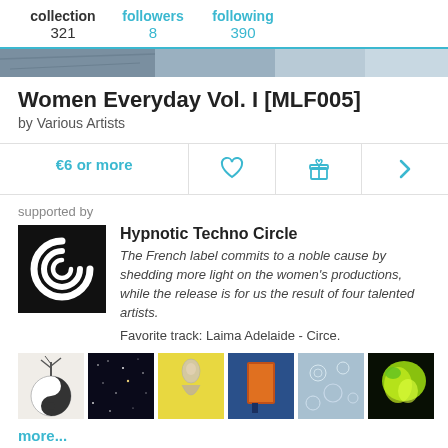collection 321  followers 8  following 390
[Figure (photo): Album art strip showing a partial dark/blue toned image]
Women Everyday Vol. I [MLF005]
by Various Artists
€6 or more  [heart icon]  [gift icon]  [chevron icon]
supported by
[Figure (logo): Black square logo with white spiral C shape - Hypnotic Techno Circle]
Hypnotic Techno Circle
The French label commits to a noble cause by shedding more light on the women's productions, while the release is for us the result of four talented artists.
Favorite track: Laima Adelaide - Circe.
[Figure (photo): Six thumbnail images: yin-yang tree, starry night dark, vintage figure on yellow, blue/orange doorway, frost crystals, green/yellow abstract]
more...